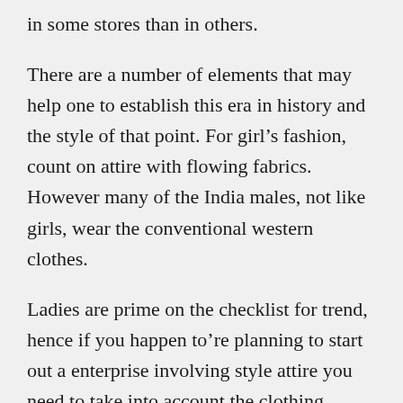in some stores than in others.
There are a number of elements that may help one to establish this era in history and the style of that point. For girl’s fashion, count on attire with flowing fabrics. However many of the India males, not like girls, wear the conventional western clothes.
Ladies are prime on the checklist for trend, hence if you happen to’re planning to start out a enterprise involving style attire you need to take into account the clothing demand of ladies out there. In most societies, it is indecent for women and men to mingle with others with out wearing garments